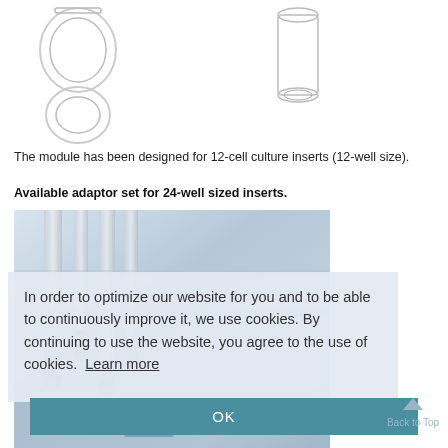[Figure (photo): Three laboratory cell culture inserts/containers shown at top of page on white background]
The module has been designed for 12-cell culture inserts (12-well size).
Available adaptor set for 24-well sized inserts.
[Figure (photo): Close-up laboratory photo of scientific glassware and instruments with blue tones, partially obscured by cookie consent overlay]
In order to optimize our website for you and to be able to continuously improve it, we use cookies. By continuing to use the website, you agree to the use of cookies. Learn more
OK
Back to Top